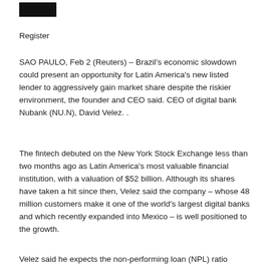[Figure (logo): Black rectangular logo block]
Register
SAO PAULO, Feb 2 (Reuters) – Brazil's economic slowdown could present an opportunity for Latin America's new listed lender to aggressively gain market share despite the riskier environment, the founder and CEO said. CEO of digital bank Nubank (NU.N), David Velez. .
The fintech debuted on the New York Stock Exchange less than two months ago as Latin America's most valuable financial institution, with a valuation of $52 billion. Although its shares have taken a hit since then, Velez said the company – whose 48 million customers make it one of the world's largest digital banks and which recently expanded into Mexico – is well positioned to the growth.
Velez said he expects the non-performing loan (NPL) ratio